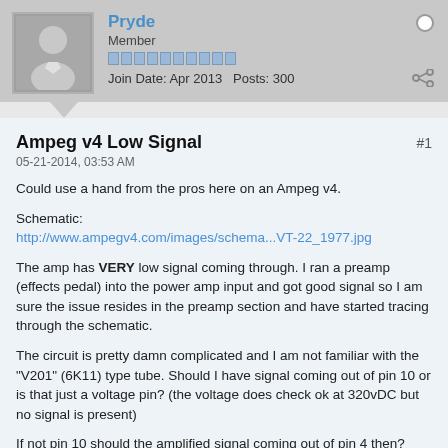Pryde
Member
Join Date: Apr 2013   Posts: 300
Ampeg v4 Low Signal
05-21-2014, 03:53 AM
Could use a hand from the pros here on an Ampeg v4.
Schematic:
http://www.ampegv4.com/images/schema...VT-22_1977.jpg
The amp has VERY low signal coming through. I ran a preamp (effects pedal) into the power amp input and got good signal so I am sure the issue resides in the preamp section and have started tracing through the schematic.
The circuit is pretty damn complicated and I am not familiar with the "V201" (6K11) type tube. Should I have signal coming out of pin 10 or is that just a voltage pin? (the voltage does check ok at 320vDC but no signal is present)
If not pin 10 should the amplified signal coming out of pin 4 then?
Thanks